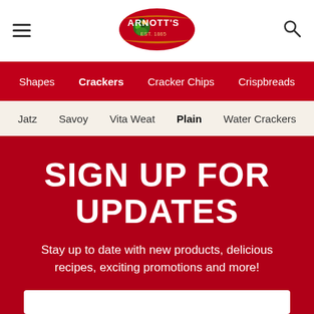Arnott's — hamburger menu, logo, search icon
Shapes | Crackers | Cracker Chips | Crispbreads
Jatz | Savoy | Vita Weat | Plain | Water Crackers
SIGN UP FOR UPDATES
Stay up to date with new products, delicious recipes, exciting promotions and more!